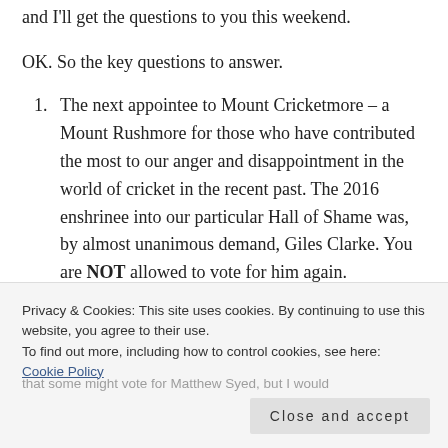and I'll get the questions to you this weekend.
OK. So the key questions to answer.
The next appointee to Mount Cricketmore – a Mount Rushmore for those who have contributed the most to our anger and disappointment in the world of cricket in the recent past. The 2016 enshrinee into our particular Hall of Shame was, by almost unanimous demand, Giles Clarke. You are NOT allowed to vote for him again.
Your cricket journalist of the year – as in the best...
Privacy & Cookies: This site uses cookies. By continuing to use this website, you agree to their use.
To find out more, including how to control cookies, see here: Cookie Policy
Close and accept
that some might vote for Matthew Syed, but I would